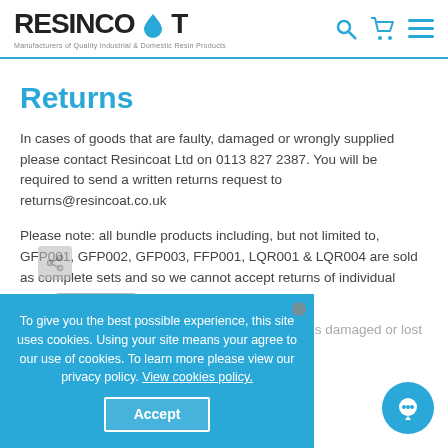RESINCOAT - Manufacturers of Quality Industrial & Domestic Resin Products
Returns
In cases of goods that are faulty, damaged or wrongly supplied please contact Resincoat Ltd on 0113 827 2387. You will be required to send a written returns request to returns@resincoat.co.uk
Please note: all bundle products including, but not limited to,  GFP001, GFP002, GFP003, FFP001, LQR001 & LQR004 are sold as complete sets and so we cannot accept returns of individual items
Resincoat Ltd accepts no responsibility for goods damaged or lost in transit.
To give you the best possible experience, this site uses cookies. Using your site means your agree to our use of cookies. To learn more please view our privacy policy. View cookies policy. Accept